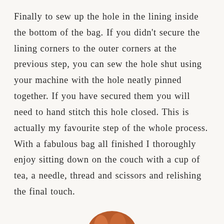Finally to sew up the hole in the lining inside the bottom of the bag. If you didn't secure the lining corners to the outer corners at the previous step, you can sew the hole shut using your machine with the hole neatly pinned together. If you have secured them you will need to hand stitch this hole closed. This is actually my favourite step of the whole process. With a fabulous bag all finished I thoroughly enjoy sitting down on the couch with a cup of tea, a needle, thread and scissors and relishing the final touch.
[Figure (photo): Partial view of a hand or fingers visible at the bottom of the page, cropped]